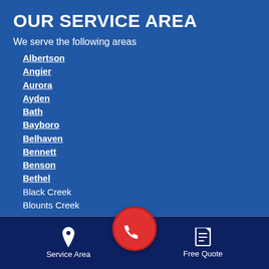OUR SERVICE AREA
We serve the following areas
Albertson
Angier
Aurora
Ayden
Bath
Bayboro
Belhaven
Bennett
Benson
Bethel
Black Creek
Blounts Creek
Service Area   Free Quote